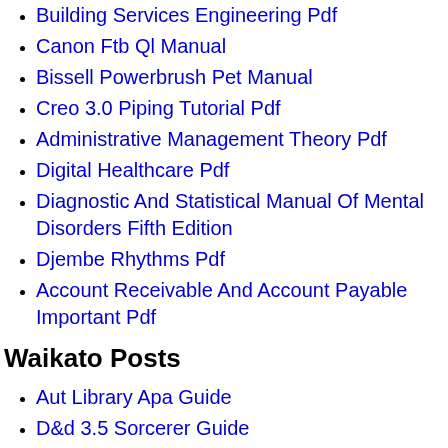Building Services Engineering Pdf
Canon Ftb Ql Manual
Bissell Powerbrush Pet Manual
Creo 3.0 Piping Tutorial Pdf
Administrative Management Theory Pdf
Digital Healthcare Pdf
Diagnostic And Statistical Manual Of Mental Disorders Fifth Edition
Djembe Rhythms Pdf
Account Receivable And Account Payable Important Pdf
Waikato Posts
Aut Library Apa Guide
D&d 3.5 Sorcerer Guide
Blue Devil Block Sealer Instructions
Ark Engrams Guide